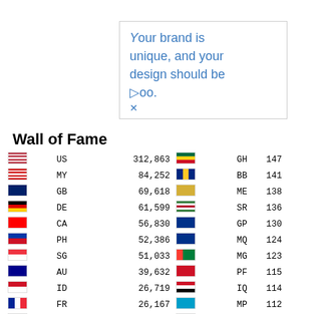[Figure (other): Advertisement box with text: 'Your brand is unique, and your design should be too.']
Wall of Fame
| Flag | Country | Count | Flag | Country | Count |
| --- | --- | --- | --- | --- | --- |
| US | 312,863 | GH | 147 |
| MY | 84,252 | BB | 141 |
| GB | 69,618 | ME | 138 |
| DE | 61,599 | SR | 136 |
| CA | 56,830 | GP | 130 |
| PH | 52,386 | MQ | 124 |
| SG | 51,033 | MG | 123 |
| AU | 39,632 | PF | 115 |
| ID | 26,719 | IQ | 114 |
| FR | 26,167 | MP | 112 |
| NL | 21,215 | NC | 104 |
| BR | 18,625 | JE | 104 |
| VN | 18,058 | AW | 104 |
| IT | 14,888 | TZ | 102 |
| HK | 14,502 | IM | 98 |
| IN | 13,219 | LA | 89 |
| RU | 11,990 | UZ | 88 |
| TH | 11,365 | NI | 83 |